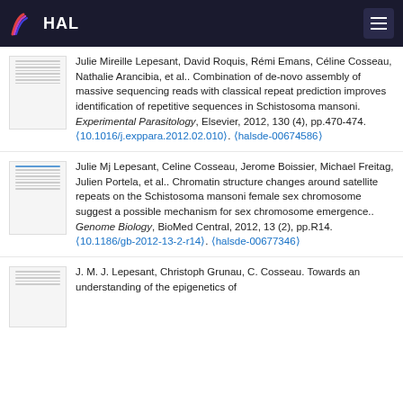HAL
Julie Mireille Lepesant, David Roquis, Rémi Emans, Céline Cosseau, Nathalie Arancibia, et al.. Combination of de-novo assembly of massive sequencing reads with classical repeat prediction improves identification of repetitive sequences in Schistosoma mansoni. Experimental Parasitology, Elsevier, 2012, 130 (4), pp.470-474. ⟨10.1016/j.exppara.2012.02.010⟩. ⟨halsde-00674586⟩
Julie Mj Lepesant, Celine Cosseau, Jerome Boissier, Michael Freitag, Julien Portela, et al.. Chromatin structure changes around satellite repeats on the Schistosoma mansoni female sex chromosome suggest a possible mechanism for sex chromosome emergence.. Genome Biology, BioMed Central, 2012, 13 (2), pp.R14. ⟨10.1186/gb-2012-13-2-r14⟩. ⟨halsde-00677346⟩
J. M. J. Lepesant, Christoph Grunau, C. Cosseau. Towards an understanding of the epigenetics of schistosome...